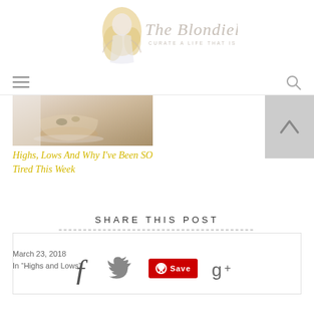[Figure (logo): The Blondielocks blog logo with illustrated woman figure and script text reading 'The Blondielocks' with tagline 'CURATE A LIFE THAT IS JUST RIGHT']
[Figure (other): Hamburger menu icon (three horizontal lines) on left and search magnifying glass icon on right]
[Figure (photo): Overhead photo of a bowl with food (oatmeal or similar), partially cropped]
Highs, Lows And Why I've Been SO Tired This Week
March 23, 2018
In “Highs and Lows”
[Figure (other): Back to top chevron/arrow button in grey square]
SHARE THIS POST
[Figure (other): Social share icons: Facebook (f), Twitter (bird), Pinterest (Save button in red), Google Plus (g+)]